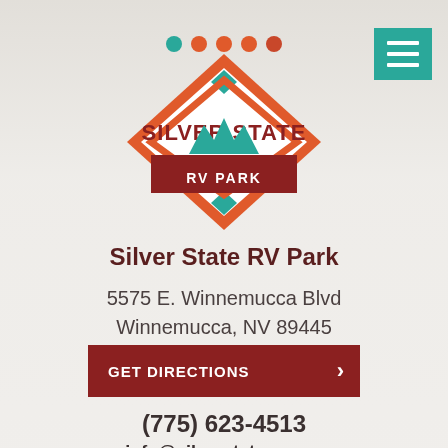[Figure (logo): Silver State RV Park diamond-shaped logo with mountains and teal/orange color scheme]
Silver State RV Park
5575 E. Winnemucca Blvd
Winnemucca, NV 89445
GET DIRECTIONS
(775) 623-4513
info@silverstatery.com